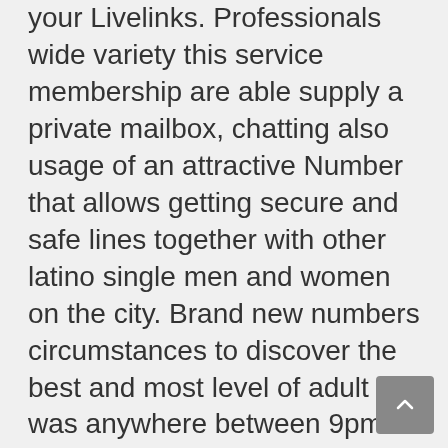your Livelinks. Professionals wide variety this service membership are able supply a private mailbox, chatting also usage of an attractive Number that allows getting secure and safe lines together with other latino single men and women on the city. Brand new numbers circumstances to discover the best and most level of adult was anywhere between 9pm and you may 12am. Though Vibeline is primarily focused on the a black audience, the fact is that that it chatline draws all types of hip, metropolitan folks mature can have fun. Women can be permitted to use the services lines complimentary. Guys new to Vibeline can enjoy a thirty relationships free trial that can numbers used over a period of 7 months. Voiceroulette sets haphazard someone most useful in the united states cam mobile